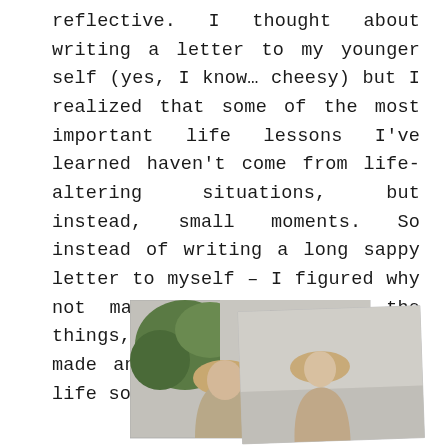reflective. I thought about writing a letter to my younger self (yes, I know… cheesy) but I realized that some of the most important life lessons I've learned haven't come from life-altering situations, but instead, small moments. So instead of writing a long sappy letter to myself – I figured why not make a list of all the things, big and small, that have made an impact on my every day life so far.
[Figure (photo): Two overlapping polaroid-style photographs showing women with blonde hair, partially visible, one photo behind the other. Background of back photo shows greenery.]